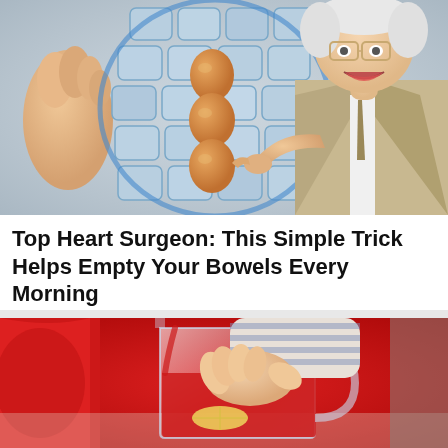[Figure (photo): A person holding up a blue ice pack vest with three brown eggs stacked vertically in the center pockets. On the right, an elderly male doctor in a beige suit and glasses points at the vest with an open-mouthed expression.]
Top Heart Surgeon: This Simple Trick Helps Empty Your Bowels Every Morning
Gundry MD | Sponsored
[Figure (photo): A close-up of someone in a striped shirt pouring a red liquid from a clear glass pitcher. A woman in a red top is partially visible on the left. The liquid appears to be a red drink with a lemon slice.]